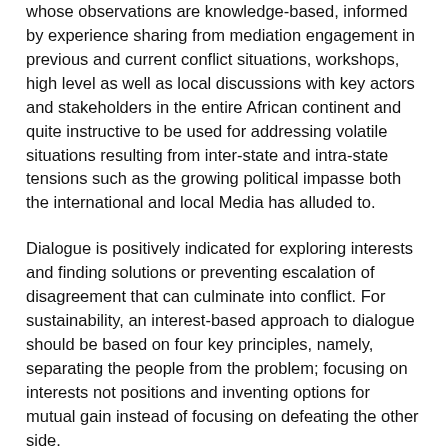whose observations are knowledge-based, informed by experience sharing from mediation engagement in previous and current conflict situations, workshops, high level as well as local discussions with key actors and stakeholders in the entire African continent and quite instructive to be used for addressing volatile situations resulting from inter-state and intra-state tensions such as the growing political impasse both the international and local Media has alluded to.
Dialogue is positively indicated for exploring interests and finding solutions or preventing escalation of disagreement that can culminate into conflict. For sustainability, an interest-based approach to dialogue should be based on four key principles, namely, separating the people from the problem; focusing on interests not positions and inventing options for mutual gain instead of focusing on defeating the other side.
Separating the people from the problem might be quite challenging because the actors are human beings; with deeply-held values who will be engaging each other in discussions during the dialogue but it is important to insist on using objective criteria to make arguments; not subjective